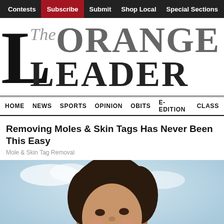Contests | Subscribe | Submit | Shop Local | Special Sections | Lifest...
[Figure (logo): The Orange Leader newspaper logo with large decorative 'L' on left, 'The' in italic script, 'ORANGE' and 'LEADER' in large serif font]
HOME  NEWS  SPORTS  OPINION  OBITS  E-EDITION  CLASS...
Removing Moles & Skin Tags Has Never Been This Easy
Mole & Skin Tag Removal
[Figure (photo): A smiling woman with curly hair looking upward outdoors]